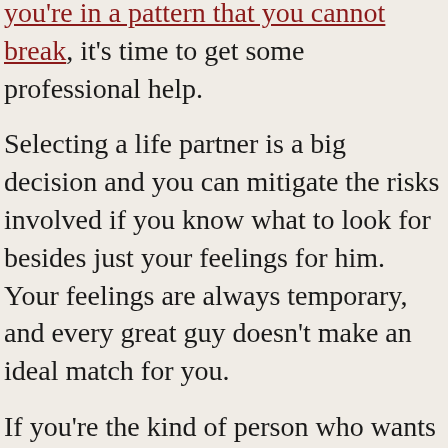you're in a pattern that you cannot break, it's time to get some professional help.
Selecting a life partner is a big decision and you can mitigate the risks involved if you know what to look for besides just your feelings for him. Your feelings are always temporary, and every great guy doesn't make an ideal match for you.
If you're the kind of person who wants lasting love with a someone who gets you, that you trust and share great chemistry with, join us for a complimentary Soulmate Strategy Session so we can get bring clarity to the type of relationship that would truly fulfill you long-term.
Orna and Matthew Walters are Soulmate Coaches who have been featured guest experts on Bravo's THE MILLIONAIRE MATCHMAKER. They uncover